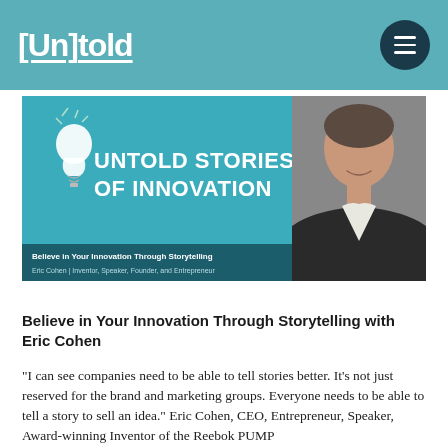[Un]told
[Figure (illustration): Untold Stories of Innovation podcast banner with lightbulb graphic, large white text reading UNTOLD STORIES OF INNOVATION, subtitle Believe in Your Innovation Through Storytelling, author Eric Cohen | Inventor, Speaker, Founder, and Entrepreneur, and a photo of Eric Cohen on the right side]
Believe in Your Innovation Through Storytelling with Eric Cohen
“I can see companies need to be able to tell stories better. It’s not just reserved for the brand and marketing groups. Everyone needs to be able to tell a story to sell an idea.” Eric Cohen, CEO, Entrepreneur, Speaker, Award-winning Inventor of the Reebok PUMP Technology, Mentor, and more...